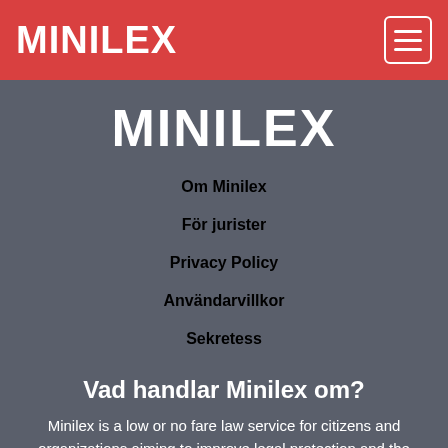MINILEX
MINILEX
Om Minilex
För jurister
Privacy Policy
Användarvillkor
Sekretess
Vad handlar Minilex om?
Minilex is a low or no fare law service for citizens and organizations aiming to improve legal protection and the availability of law services. Minilex's free law articles, free